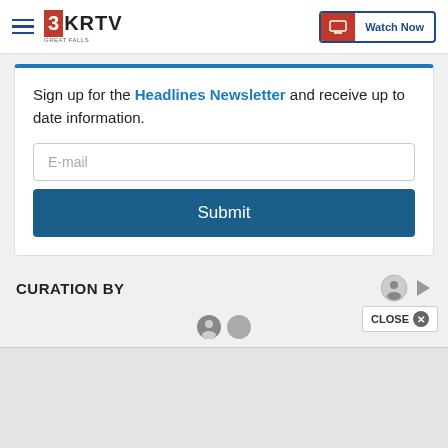3KRTV GREAT FALLS | Watch Now
Sign up for the Headlines Newsletter and receive up to date information.
E-mail
Submit
CURATION BY
CLOSE